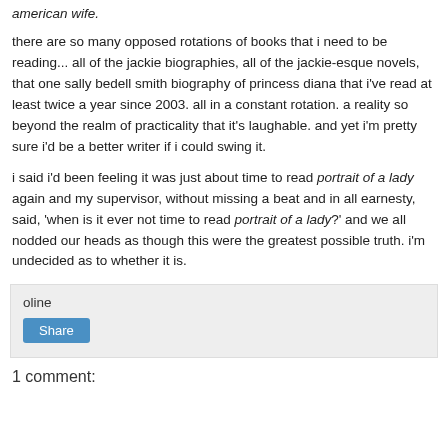american wife.
there are so many opposed rotations of books that i need to be reading... all of the jackie biographies, all of the jackie-esque novels, that one sally bedell smith biography of princess diana that i've read at least twice a year since 2003. all in a constant rotation. a reality so beyond the realm of practicality that it's laughable. and yet i'm pretty sure i'd be a better writer if i could swing it.
i said i'd been feeling it was just about time to read portrait of a lady again and my supervisor, without missing a beat and in all earnesty, said, 'when is it ever not time to read portrait of a lady?' and we all nodded our heads as though this were the greatest possible truth. i'm undecided as to whether it is.
oline
Share
1 comment: